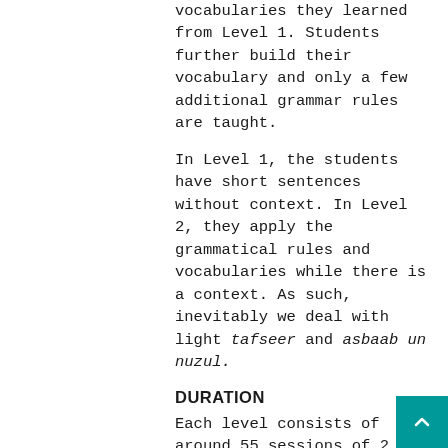vocabularies they learned from Level 1. Students further build their vocabulary and only a few additional grammar rules are taught.
In Level 1, the students have short sentences without context. In Level 2, they apply the grammatical rules and vocabularies while there is a context. As such, inevitably we deal with light tafseer and asbaab un nuzul.
DURATION
Each level consists of around 55 sessions of 2 hours once every week over a period of 15 months.
DEPARTMENT MEMBERS
Admin Unit
Aadil Raja (Head)
Fouad Assotally